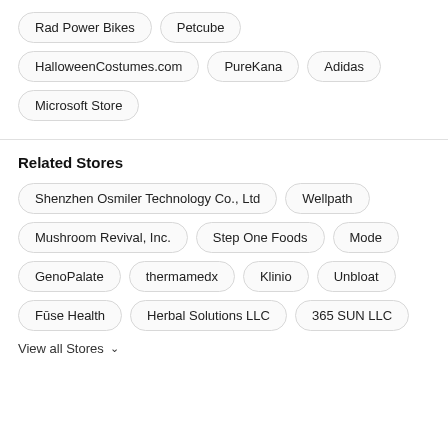Rad Power Bikes
Petcube
HalloweenCostumes.com
PureKana
Adidas
Microsoft Store
Related Stores
Shenzhen Osmiler Technology Co., Ltd
Wellpath
Mushroom Revival, Inc.
Step One Foods
Mode
GenoPalate
thermamedx
Klinio
Unbloat
Fūse Health
Herbal Solutions LLC
365 SUN LLC
View all Stores ∨